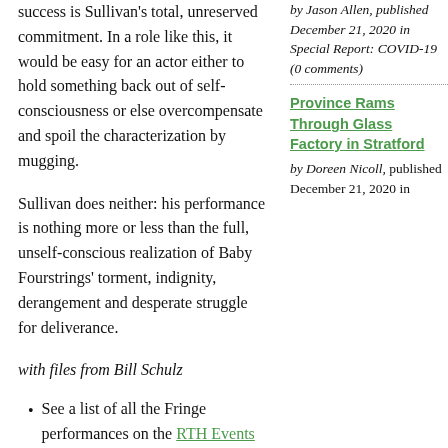success is Sullivan's total, unreserved commitment. In a role like this, it would be easy for an actor either to hold something back out of self-consciousness or else overcompensate and spoil the characterization by mugging.
Sullivan does neither: his performance is nothing more or less than the full, unself-conscious realization of Baby Fourstrings' torment, indignity, derangement and desperate struggle for deliverance.
with files from Bill Schulz
See a list of all the Fringe performances on the RTH Events Calendar
by Jason Allen, published December 21, 2020 in Special Report: COVID-19 (0 comments)
Province Rams Through Glass Factory in Stratford
by Doreen Nicoll, published December 21, 2020 in